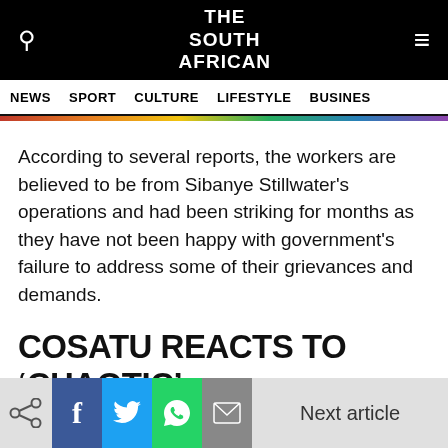THE SOUTH AFRICAN
NEWS  SPORT  CULTURE  LIFESTYLE  BUSINESS
According to several reports, the workers are believed to be from Sibanye Stillwater’s operations and had been striking for months as they have not been happy with government’s failure to address some of their grievances and demands.
COSATU REACTS TO ‘CHAOTIC’ MAY DAY RALLY
Speaking to journalists after the incident, Losi said
Next article